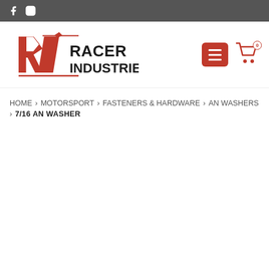Racer Industries — social bar with Facebook and Instagram icons
[Figure (logo): Racer Industries logo with red RI emblem and bold RACER INDUSTRIES text]
HOME › MOTORSPORT › FASTENERS & HARDWARE › AN WASHERS › 7/16 AN WASHER